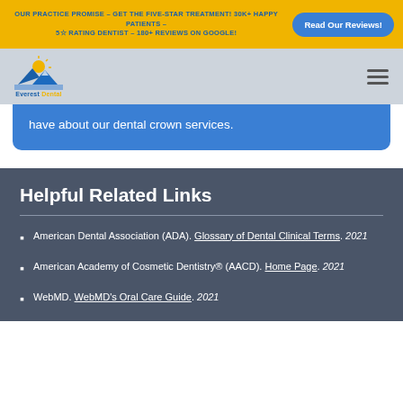OUR PRACTICE PROMISE – GET THE FIVE-STAR TREATMENT! 30K+ HAPPY PATIENTS – 5☆ RATING DENTIST – 180+ REVIEWS ON GOOGLE!
[Figure (logo): Everest Dental logo with mountain and sun icon]
have about our dental crown services.
Helpful Related Links
American Dental Association (ADA). Glossary of Dental Clinical Terms. 2021
American Academy of Cosmetic Dentistry® (AACD). Home Page. 2021
WebMD. WebMD's Oral Care Guide. 2021